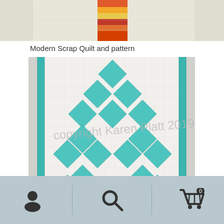[Figure (photo): Top portion of a quilted textile with striped fabric visible in center, cream/white quilted background]
Modern Scrap Quilt and pattern
[Figure (photo): A white quilt with teal/turquoise floral diamond pattern blocks arranged in a diagonal lattice design, with teal border strips on sides. Watermark reads 'copyright Karen Platt 2019']
User icon | Search icon | Cart icon with badge 0